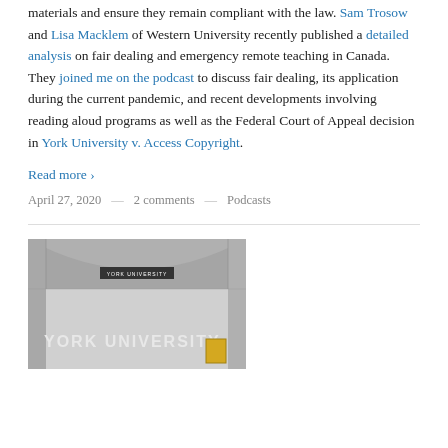materials and ensure they remain compliant with the law. Sam Trosow and Lisa Macklem of Western University recently published a detailed analysis on fair dealing and emergency remote teaching in Canada. They joined me on the podcast to discuss fair dealing, its application during the current pandemic, and recent developments involving reading aloud programs as well as the Federal Court of Appeal decision in York University v. Access Copyright.
Read more ›
April 27, 2020 — 2 comments — Podcasts
[Figure (photo): Photo of York University signage — a wall with 'YORK UNIVERSITY' text in large letters and a smaller sign reading 'YORK UNIVERSITY' above it]